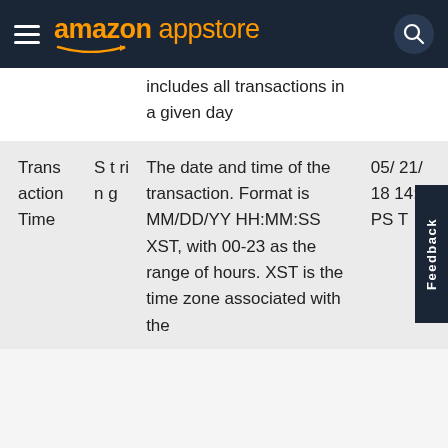amazon appstore
| Field | Type | Description | Example |
| --- | --- | --- | --- |
|  |  | includes all transactions in a given day |  |
| Transaction Time | String | The date and time of the transaction. Format is MM/DD/YY HH:MM:SS XST, with 00-23 as the range of hours. XST is the time zone associated with the | 05/21/18 14:39 PST |